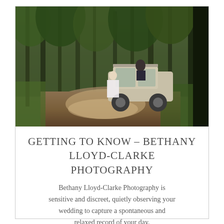[Figure (photo): Wedding couple in a forest clearing next to a Land Rover Defender. The bride wears a white dress and the groom sits on the vehicle. Tall pine trees surround them on a dirt path.]
GETTING TO KNOW – BETHANY LLOYD-CLARKE PHOTOGRAPHY
Bethany Lloyd-Clarke Photography is sensitive and discreet, quietly observing your wedding to capture a spontaneous and relaxed record of your day.